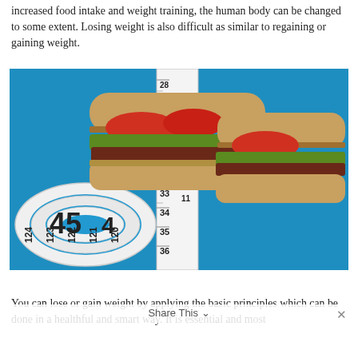increased food intake and weight training, the human body can be changed to some extent. Losing weight is also difficult as similar to regaining or gaining weight.
[Figure (photo): A sandwich wrapped with a measuring tape on a blue background. The tape measure shows numbers from approximately 28 to 36 vertically and 120-124 horizontally in a coil at lower left.]
You can lose or gain weight by applying the basic principles which can be done in a healthful and smart way. It is essential and most